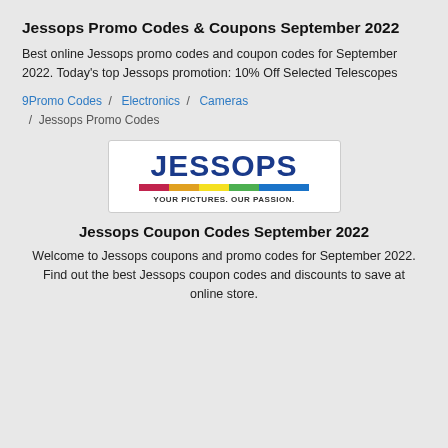Jessops Promo Codes & Coupons September 2022
Best online Jessops promo codes and coupon codes for September 2022. Today's top Jessops promotion: 10% Off Selected Telescopes
9Promo Codes / Electronics / Cameras / Jessops Promo Codes
[Figure (logo): Jessops logo with colorful bar and tagline YOUR PICTURES. OUR PASSION.]
Jessops Coupon Codes September 2022
Welcome to Jessops coupons and promo codes for September 2022. Find out the best Jessops coupon codes and discounts to save at online store.